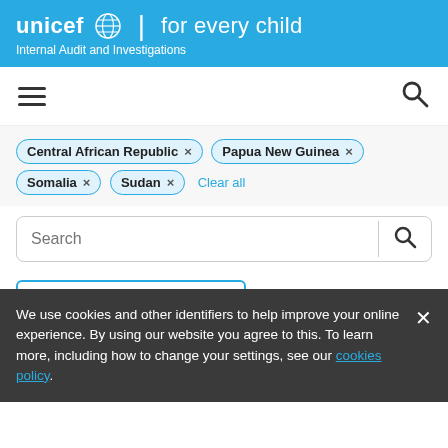[Figure (logo): UNICEF logo with globe icon and text 'unicef for every child', subtitle 'Internal Audit and Investigations']
[Figure (screenshot): Navigation bar with hamburger menu icon on left and search icon on right]
Central African Republic ×
Papua New Guinea ×
Somalia ×
Sudan ×
Clear all
Search
Newest
Locations  4 selected ×
We use cookies and other identifiers to help improve your online experience. By using our website you agree to this. To learn more, including how to change your settings, see our cookies policy.